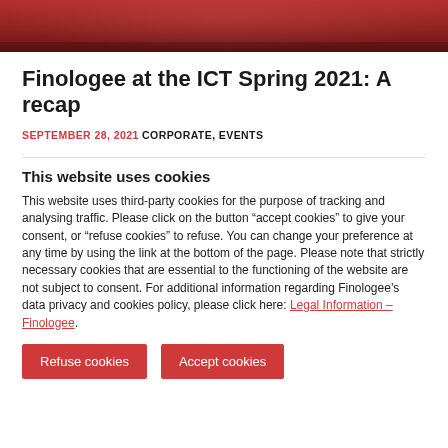[Figure (photo): Partial photo strip at top, dark reddish tones, cropped image]
Finologee at the ICT Spring 2021: A recap
SEPTEMBER 28, 2021 CORPORATE, EVENTS
This website uses cookies
This website uses third-party cookies for the purpose of tracking and analysing traffic. Please click on the button “accept cookies” to give your consent, or “refuse cookies” to refuse. You can change your preference at any time by using the link at the bottom of the page. Please note that strictly necessary cookies that are essential to the functioning of the website are not subject to consent. For additional information regarding Finologee’s data privacy and cookies policy, please click here: Legal Information – Finologee.
Refuse cookies | Accept cookies